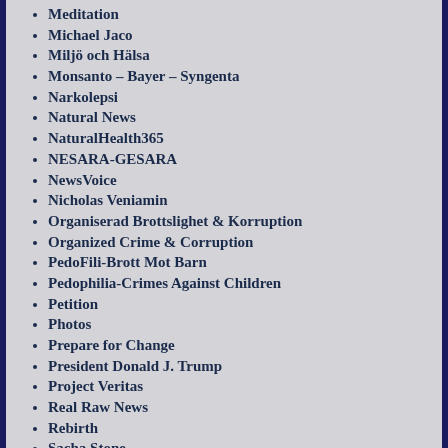Meditation
Michael Jaco
Miljö och Hälsa
Monsanto – Bayer – Syngenta
Narkolepsi
Natural News
NaturalHealth365
NESARA-GESARA
NewsVoice
Nicholas Veniamin
Organiserad Brottslighet & Korruption
Organized Crime & Corruption
PedoFili-Brott Mot Barn
Pedophilia-Crimes Against Children
Petition
Photos
Prepare for Change
President Donald J. Trump
Project Veritas
Real Raw News
Rebirth
Sacha Stone
Sarah Westall
SädesCirklar
Science – Vetenskap